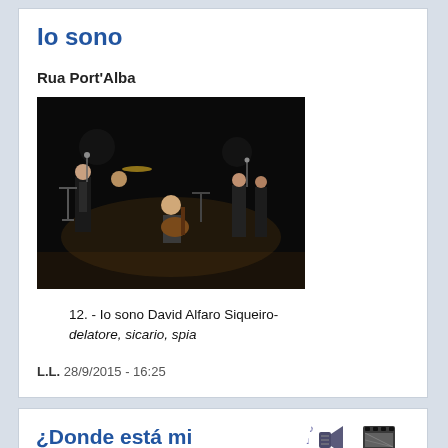Io sono
Rua Port'Alba
[Figure (photo): A concert scene with musicians on stage including a vocalist, guitarist, and drummer, dark background stage lighting]
12. - Io sono David Alfaro Siqueiro- delatore, sicario, spia
L.L. 28/9/2015 - 16:25
¿Donde está mi hermano?